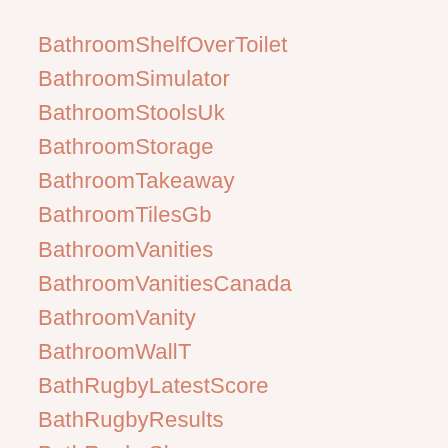BathroomShelfOverToilet
BathroomSimulator
BathroomStoolsUk
BathroomStorage
BathroomTakeaway
BathroomTilesGb
BathroomVanities
BathroomVanitiesCanada
BathroomVanity
BathroomWallT
BathRugbyLatestScore
BathRugbyResults
BathRugbyShop
BathSetAccentra